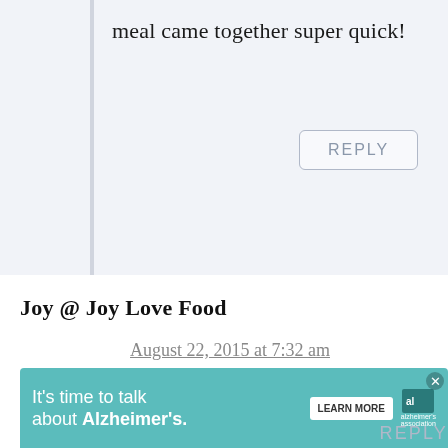meal came together super quick!
REPLY
Joy @ Joy Love Food
August 22, 2015 at 7:32 am
I love using peaches in savory dishes, this sounds wonderful, plus I have a lot of peach jam, still from last year's canning, so thanks for giving me a new way to use it!
105
[Figure (other): Heart (like) button icon]
[Figure (other): Search button icon]
[Figure (other): Advertisement banner: It's time to talk about Alzheimer's. LEARN MORE. Alzheimer's Association logo.]
REPLY